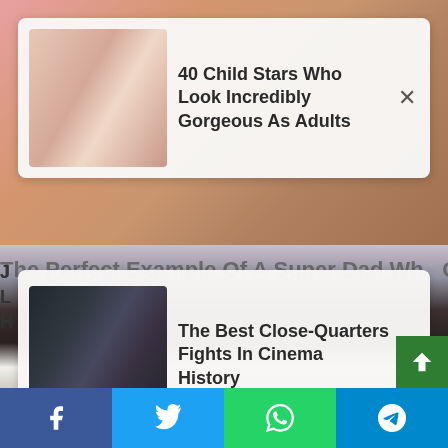[Figure (screenshot): Webpage screenshot showing two clickbait advertisement cards over a background image, with share buttons at bottom. Top card: '40 Child Stars Who Look Incredibly Gorgeous As Adults'. Bottom card: 'The Best Close-Quarters Fights In Cinema History'. Background shows a gorilla/ape wearing a white tank top. Bottom bar has social media share buttons for Facebook, Twitter, WhatsApp, and Telegram.]
40 Child Stars Who Look Incredibly Gorgeous As Adults
The Best Close-Quarters Fights In Cinema History
The Perfect Example Of A Super Dad Wh...
J
L
H